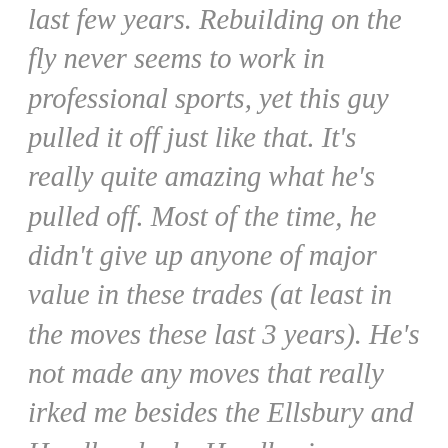last few years. Rebuilding on the fly never seems to work in professional sports, yet this guy pulled it off just like that. It's really quite amazing what he's pulled off. Most of the time, he didn't give up anyone of major value in these trades (at least in the moves these last 3 years). He's not made any moves that really irked me besides the Ellsbury and Headley deals. Headley is now gone, but the Ellsbury deal continues to haunt us. You never give a mega deal to a guy coming off a career year. I didn't want Yanks to give Cano a 10 yr deal for the money he wanted that offseason and it was a smart move not to, but when Cashman then gave Ellsbury 7 yrs/$163 mil I was